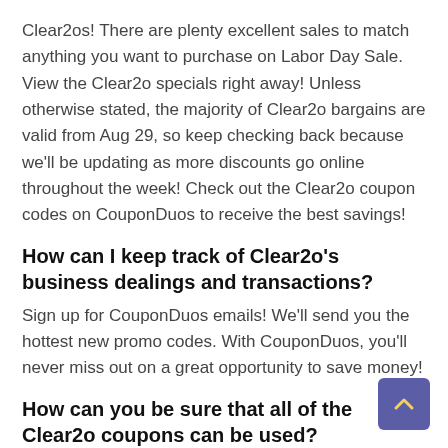Clear2os! There are plenty excellent sales to match anything you want to purchase on Labor Day Sale. View the Clear2o specials right away! Unless otherwise stated, the majority of Clear2o bargains are valid from Aug 29, so keep checking back because we'll be updating as more discounts go online throughout the week! Check out the Clear2o coupon codes on CouponDuos to receive the best savings!
How can I keep track of Clear2o's business dealings and transactions?
Sign up for CouponDuos emails! We'll send you the hottest new promo codes. With CouponDuos, you'll never miss out on a great opportunity to save money!
How can you be sure that all of the Clear2o coupons can be used?
As a general rule, we test every discount before it is